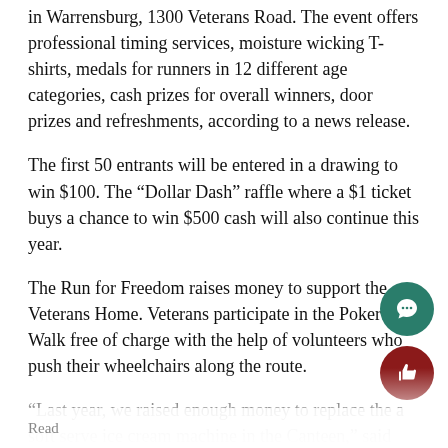in Warrensburg, 1300 Veterans Road. The event offers professional timing services, moisture wicking T-shirts, medals for runners in 12 different age categories, cash prizes for overall winners, door prizes and refreshments, according to a news release.
The first 50 entrants will be entered in a drawing to win $100. The “Dollar Dash” raffle where a $1 ticket buys a chance to win $500 cash will also continue this year.
The Run for Freedom raises money to support the Veterans Home. Veterans participate in the Poker Walk free of charge with the help of volunteers who push their wheelchairs along the route.
“Last year, we raised enough money to replace the a soft serve ice cream machine in the Canteen,” said Em Endsley, administrator. “This year, we hope to purch another ‘Go Anywhere’ tandem wheelchair bicycle. This